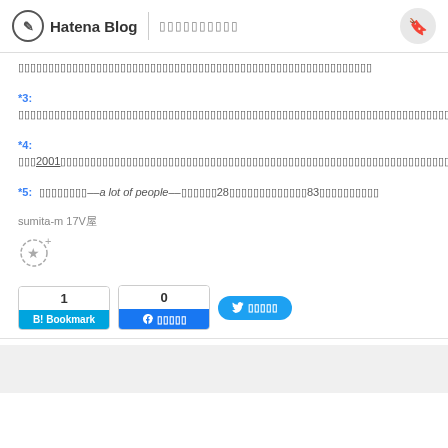Hatena Blog | oooooooooo
oooooooooooooooooooooooooooooooooooooooooooooooooooooooooo
*3: oooooooooooooooooooooooooooooooooooooooooooooooooooooooooooooooooooooooooooooooooooooooooooooooooooooooo
*4: ooo2001ooooooooooooooooooooooooooooooooooooooooooooooooooooooooooooooooooooooooooooooooooooo
*5: oooooooo--a lot of people--ooooooo28ooooooooooooooo83oooooooooooooo
sumita-m 17oo